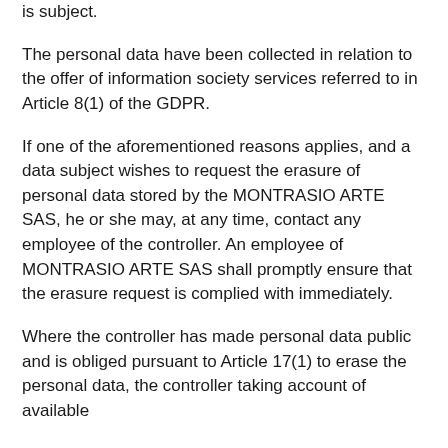is subject.
The personal data have been collected in relation to the offer of information society services referred to in Article 8(1) of the GDPR.
If one of the aforementioned reasons applies, and a data subject wishes to request the erasure of personal data stored by the MONTRASIO ARTE SAS, he or she may, at any time, contact any employee of the controller. An employee of MONTRASIO ARTE SAS shall promptly ensure that the erasure request is complied with immediately.
Where the controller has made personal data public and is obliged pursuant to Article 17(1) to erase the personal data, the controller taking account of available